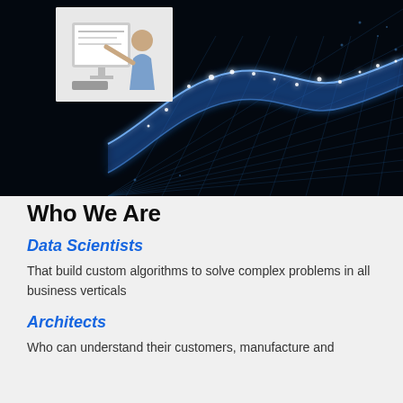[Figure (photo): Composite image: top-left shows a person pointing at a computer monitor in an office setting (light background), the main area shows a dark digital wave/data network visualization with glowing blue particles and grid lines on a black background.]
Who We Are
Data Scientists
That build custom algorithms to solve complex problems in all business verticals
Architects
Who can understand their customers, manufacture and...